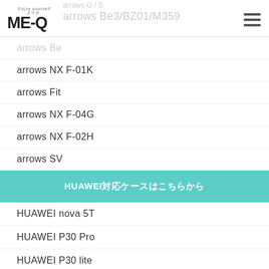ME-Q
arrows Be3/BZ01/M359
arrows Be
arrows NX F-01K
arrows Fit
arrows NX F-04G
arrows NX F-02H
arrows SV
HUAWEIのケースはこちらから
HUAWEI nova 5T
HUAWEI P30 Pro
HUAWEI P30 lite